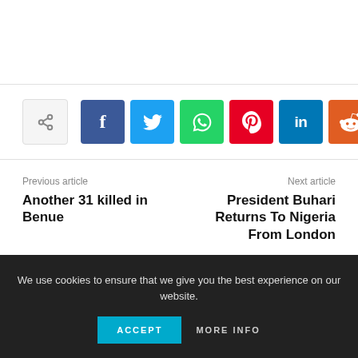[Figure (infographic): Social share buttons row: share icon (light), Facebook (dark blue), Twitter (light blue), WhatsApp (green), Pinterest (red), LinkedIn (blue), Reddit (orange), more/plus (light)]
Previous article
Another 31 killed in Benue
Next article
President Buhari Returns To Nigeria From London
We use cookies to ensure that we give you the best experience on our website.
ACCEPT
MORE INFO